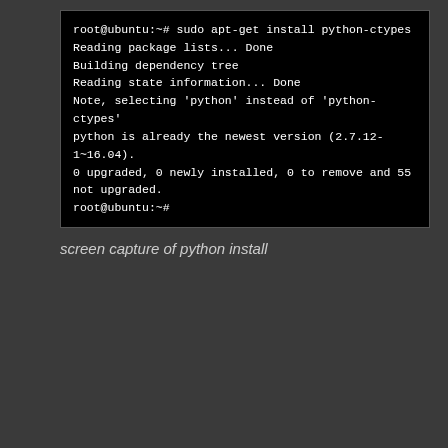[Figure (screenshot): Terminal screenshot showing Ubuntu root shell running 'sudo apt-get install python-ctypes'. Output shows: Reading package lists... Done, Building dependency tree, Reading state information... Done, Note selecting 'python' instead of 'python-ctypes', python is already the newest version (2.7.12-1~16.04)., 0 upgraded, 0 newly installed, 0 to remove and 55 not upgraded. root@ubuntu:~#]
screen capture of python install
As of 1 July, v1.13.7.0 is current (latest) 64 bit OMS for Linux agent released.